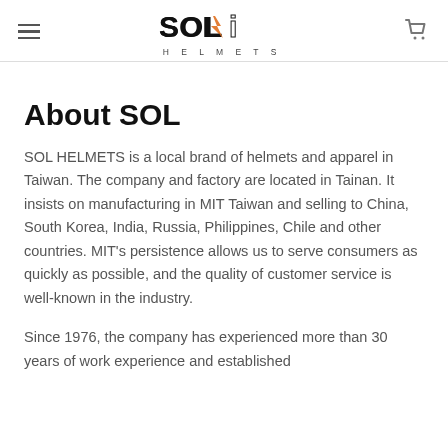SOL HELMETS
About SOL
SOL HELMETS is a local brand of helmets and apparel in Taiwan. The company and factory are located in Tainan. It insists on manufacturing in MIT Taiwan and selling to China, South Korea, India, Russia, Philippines, Chile and other countries. MIT's persistence allows us to serve consumers as quickly as possible, and the quality of customer service is well-known in the industry.
Since 1976, the company has experienced more than 30 years of work experience and established